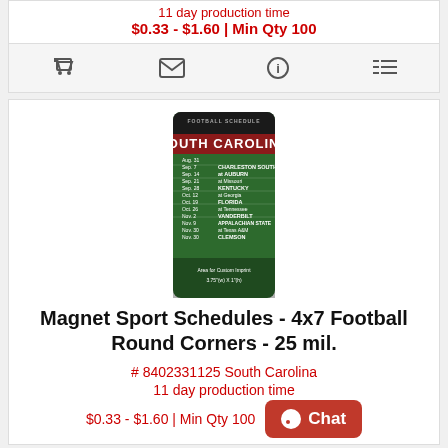11 day production time
$0.33 - $1.60 | Min Qty 100
[Figure (screenshot): South Carolina football schedule magnet product image showing a vertical magnet with football field background and schedule listing]
Magnet Sport Schedules - 4x7 Football Round Corners - 25 mil.
# 8402331125 South Carolina
11 day production time
$0.33 - $1.60 | Min Qty 100